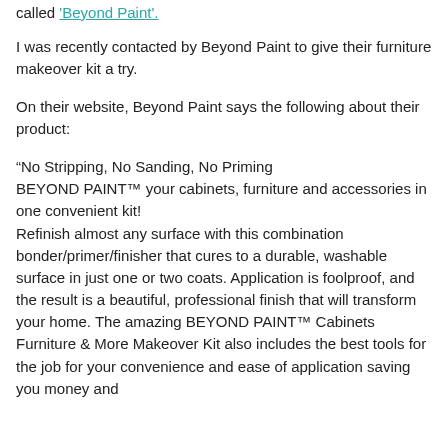called 'Beyond Paint'.
I was recently contacted by Beyond Paint to give their furniture makeover kit a try.
On their website, Beyond Paint says the following about their product:
“No Stripping, No Sanding, No Priming BEYOND PAINT™ your cabinets, furniture and accessories in one convenient kit! Refinish almost any surface with this combination bonder/primer/finisher that cures to a durable, washable surface in just one or two coats. Application is foolproof, and the result is a beautiful, professional finish that will transform your home. The amazing BEYOND PAINT™ Cabinets Furniture & More Makeover Kit also includes the best tools for the job for your convenience and ease of application saving you money and